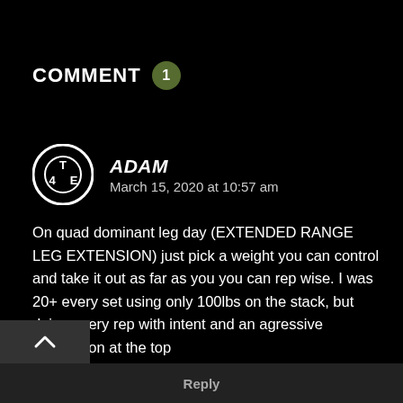COMMENT 1
ADAM
March 15, 2020 at 10:57 am
On quad dominant leg day (EXTENDED RANGE LEG EXTENSION) just pick a weight you can control and take it out as far as you you can rep wise. I was 20+ every set using only 100lbs on the stack, but doing every rep with intent and an agressive contraction at the top
Reply